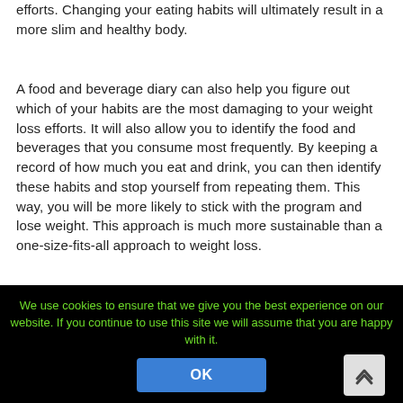efforts. Changing your eating habits will ultimately result in a more slim and healthy body.
A food and beverage diary can also help you figure out which of your habits are the most damaging to your weight loss efforts. It will also allow you to identify the food and beverages that you consume most frequently. By keeping a record of how much you eat and drink, you can then identify these habits and stop yourself from repeating them. This way, you will be more likely to stick with the program and lose weight. This approach is much more sustainable than a one-size-fits-all approach to weight loss.
Identifying bad eating habits and making gradual changes can be a great way to lose weight. As a rule, one slip-up shouldn't ruin your diet, but you need to make sure you replace it with a more healthy habit that you can view. Once you've identified
We use cookies to ensure that we give you the best experience on our website. If you continue to use this site we will assume that you are happy with it.
OK